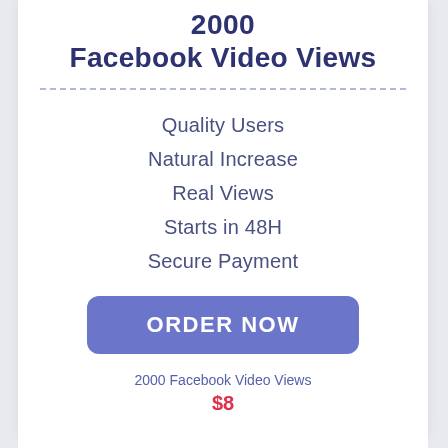Facebook Video Views
Quality Users
Natural Increase
Real Views
Starts in 48H
Secure Payment
ORDER NOW
2000 Facebook Video Views
$8